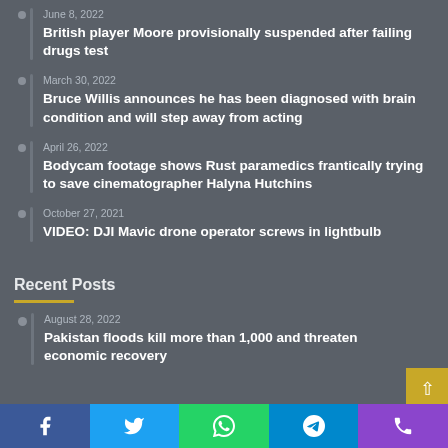June 8, 2022 – British player Moore provisionally suspended after failing drugs test
March 30, 2022 – Bruce Willis announces he has been diagnosed with brain condition and will step away from acting
April 26, 2022 – Bodycam footage shows Rust paramedics frantically trying to save cinematographer Halyna Hutchins
October 27, 2021 – VIDEO: DJI Mavic drone operator screws in lightbulb
Recent Posts
August 28, 2022 – Pakistan floods kill more than 1,000 and threaten economic recovery